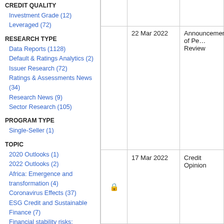CREDIT QUALITY
Investment Grade (12)
Leveraged (72)
RESEARCH TYPE
Data Reports (1128)
Default & Ratings Analytics (2)
Issuer Research (72)
Ratings & Assessments News (34)
Research News (9)
Sector Research (105)
PROGRAM TYPE
Single-Seller (1)
TOPIC
2020 Outlooks (1)
2022 Outlooks (2)
Africa: Emergence and transformation (4)
Coronavirus Effects (37)
ESG Credit and Sustainable Finance (7)
Financial stability risks: implications of rising corporate leverage (1)
Growth: Macroeconomic outlook & insights on fiscal and monetary
|  | Date | Type |
| --- | --- | --- |
|  | 22 Mar 2022 | Announcement of Pe… Review |
| 🔒 | 17 Mar 2022 | Credit Opinion |